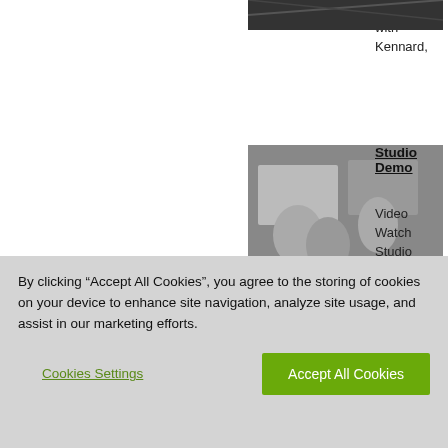come up with Kennard,
[Figure (photo): Thumbnail image at top of page (partial), dark/black image]
Studio Demo
Video
Watch Studio Sculpting Insi
[Figure (photo): Group of people in a studio setting, viewed from above]
Artist in Resid
Video
April 2010 Ar become part in Wonderlan
[Figure (photo): Person working with molten glass or fire in a dark studio]
By clicking “Accept All Cookies”, you agree to the storing of cookies on your device to enhance site navigation, analyze site usage, and assist in our marketing efforts.
Cookies Settings
Accept All Cookies